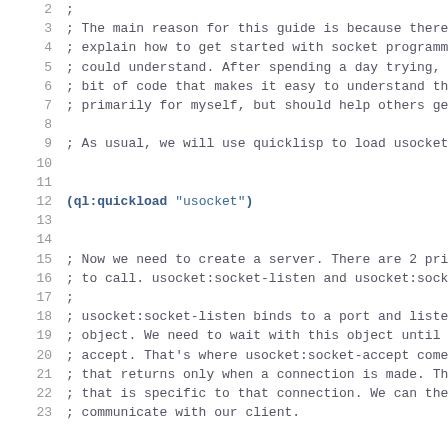Code listing lines 2-23 showing Common Lisp socket programming tutorial with comments and (ql:quickload "usocket") call
2  ;
3  ; The main reason for this guide is because there
4  ; explain how to get started with socket programm
5  ; could understand. After spending a day trying,
6  ; bit of code that makes it easy to understand th
7  ; primarily for myself, but should help others ge
8
9  ; As usual, we will use quicklisp to load usocket
10
11
12 (ql:quickload "usocket")
13
14
15 ; Now we need to create a server. There are 2 pri
16 ; to call. usocket:socket-listen and usocket:sock
17 ;
18 ; usocket:socket-listen binds to a port and liste
19 ; object. We need to wait with this object until c
20 ; accept. That's where usocket:socket-accept come
21 ; that returns only when a connection is made. Th
22 ; that is specific to that connection. We can the
23 ; communicate with our client.